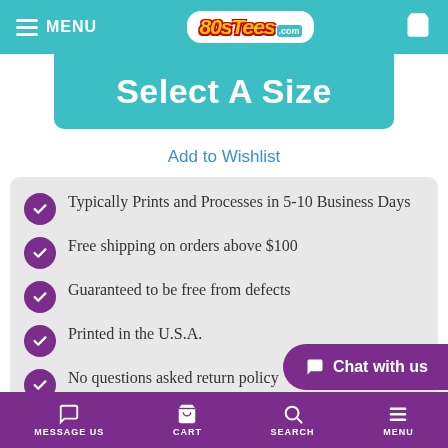MENU | 80sTees.com | Cart
Select A Size
Add to Wishlist
Typically Prints and Processes in 5-10 Business Days
Free shipping on orders above $100
Guaranteed to be free from defects
Printed in the U.S.A.
No questions asked return policy
MESSAGE US | CART | SEARCH | MENU